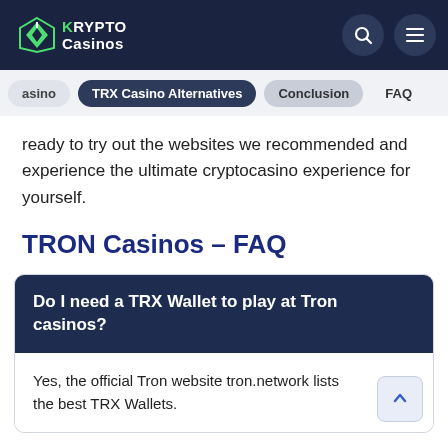KryptoCasinos
TRX Casino Alternatives | Conclusion | FAQ
ready to try out the websites we recommended and experience the ultimate cryptocasino experience for yourself.
TRON Casinos – FAQ
Do I need a TRX Wallet to play at Tron casinos?
Yes, the official Tron website tron.network lists the best TRX Wallets.